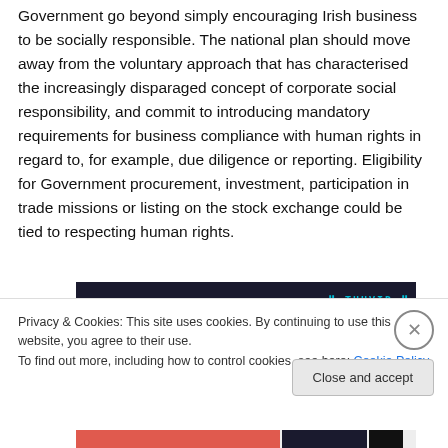Government go beyond simply encouraging Irish business to be socially responsible. The national plan should move away from the voluntary approach that has characterised the increasingly disparaged concept of corporate social responsibility, and commit to introducing mandatory requirements for business compliance with human rights in regard to, for example, due diligence or reporting. Eligibility for Government procurement, investment, participation in trade missions or listing on the stock exchange could be tied to respecting human rights.
[Figure (screenshot): Dark banner with cyan/teal text showing website header elements]
Privacy & Cookies: This site uses cookies. By continuing to use this website, you agree to their use. To find out more, including how to control cookies, see here: Cookie Policy
Close and accept